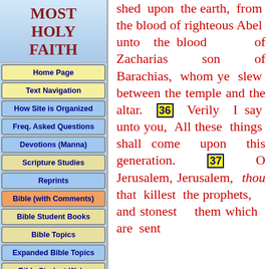MOST HOLY FAITH
Home Page
Text Navigation
How Site is Organized
Freq. Asked Questions
Devotions (Manna)
Scripture Studies
Reprints
Bible (with Comments)
Bible Student Books
Bible Topics
Expanded Bible Topics
Bible Student Webs
Miscellaneous
shed upon the earth, from the blood of righteous Abel unto the blood of Zacharias son of Barachias, whom ye slew between the temple and the altar. 36 Verily I say unto you, All these things shall come upon this generation. 37 O Jerusalem, Jerusalem, thou that killest the prophets, and stonest them which are sent